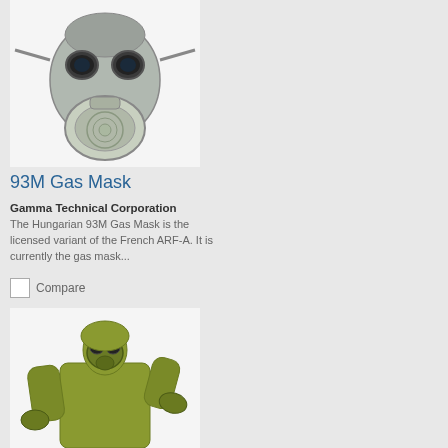[Figure (photo): Photo of a 93M gas mask, silver/grey metallic with circular filter canister and eye lenses, on white background]
93M Gas Mask
Gamma Technical Corporation
The Hungarian 93M Gas Mask is the licensed variant of the French ARF-A. It is currently the gas mask...
Compare
[Figure (photo): Photo of a person wearing a green chemical protection suit and gas mask, shown from the waist up on white background]